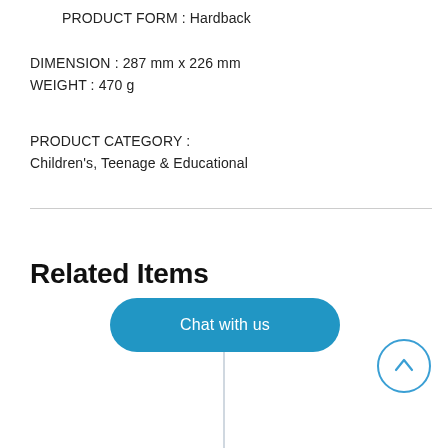PRODUCT FORM : Hardback
DIMENSION : 287 mm x 226 mm
WEIGHT : 470 g
PRODUCT CATEGORY :
Children's, Teenage & Educational
Related Items
[Figure (other): Chat with us button and scroll-to-top circle button UI elements]
[Figure (other): Vertical divider line separating related item cards]